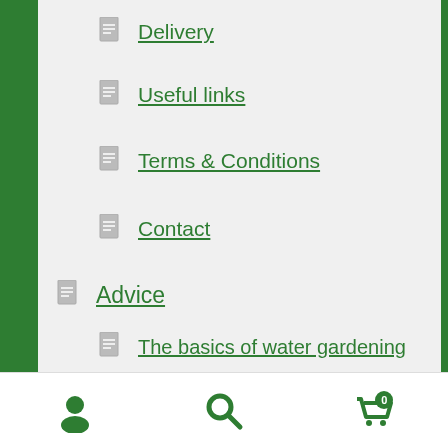Delivery
Useful links
Terms & Conditions
Contact
Advice
The basics of water gardening
Caring for your water plants
August 2nd update: allow 5 working days for delivery. Free postage on orders over £50.
Dismiss